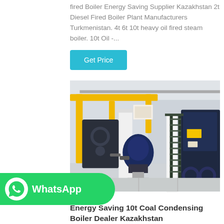fired Boiler Energy Saving Supplier Kazakhstan 2t Diesel Fired Boiler Plant Manufacturers Turkmenistan. 4t 6t 10t heavy oil fired steam boiler. 10t Oil -...
Get Price
[Figure (photo): Industrial boiler plant facility showing large yellow-piped boilers, metal staircases, and industrial equipment in a factory setting]
[Figure (logo): WhatsApp green badge with phone icon and WhatsApp text]
Energy Saving 10t Coal Condensing Boiler Dealer Kazakhstan